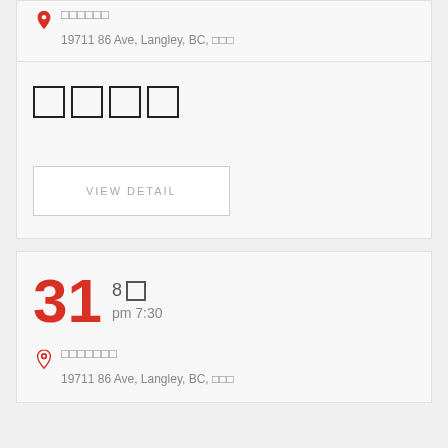□□□□□□
19711 86 Ave, Langley, BC, □□□
□□□□
VIEW DETAIL
31
8□
pm 7:30
□□□□□□□
19711 86 Ave, Langley, BC, □□□